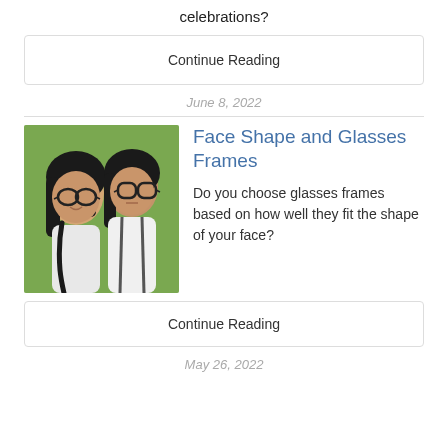celebrations?
Continue Reading
June 8, 2022
[Figure (photo): Two young women wearing glasses, posing outdoors with green background]
Face Shape and Glasses Frames
Do you choose glasses frames based on how well they fit the shape of your face?
Continue Reading
May 26, 2022